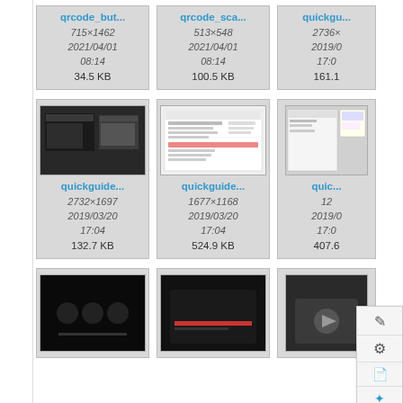[Figure (screenshot): File browser grid view showing image thumbnails with filenames, dimensions, dates, and sizes. Top row: qrcode_but... (715×1462, 2021/04/01 08:14, 34.5 KB), qrcode_sca... (513×548, 2021/04/01 08:14, 100.5 KB), quickgu... (2736×?, 2019/0? 17:0?, 161.1?). Middle row: quickguide... (2732×1697, 2019/03/20 17:04, 132.7 KB) with dark screenshot thumbnail, quickguide... (1677×1168, 2019/03/20 17:04, 524.9 KB) with document screenshot thumbnail, quic... (12?×?, 2019/0?/? 17:0?, 407.6?) with partial context menu overlay. Bottom row: three partial thumbnails with dark/black screenshots.]